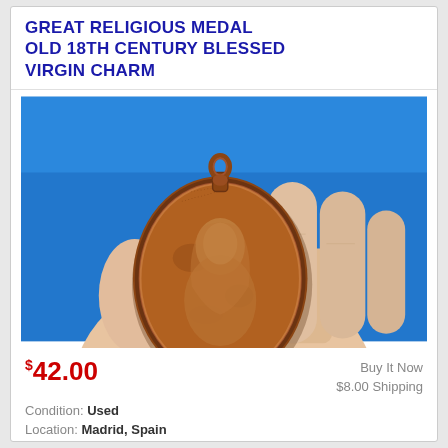GREAT RELIGIOUS MEDAL OLD 18TH CENTURY BLESSED VIRGIN CHARM
[Figure (photo): A hand holding an old copper/bronze oval religious medal with a raised figure of the Blessed Virgin, with a loop at the top for wearing as a pendant. Background is bright blue sky.]
$42.00
Buy It Now
$8.00 Shipping
Condition: Used
Location: Madrid, Spain